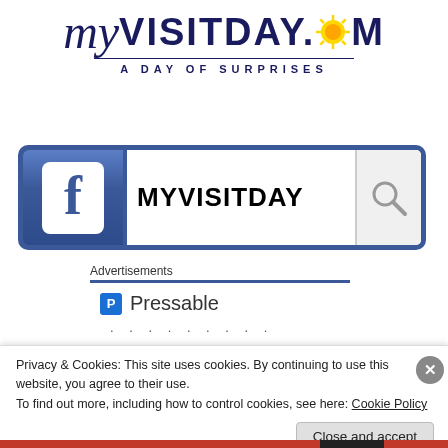[Figure (logo): MyVisitDay.com logo with cursive 'my' and bold 'VISITDAY.COM' text, sun icon, tagline 'A DAY OF SURPRISES']
[Figure (screenshot): Facebook search bar showing 'MYVISITDAY' with Facebook 'f' logo icon on left and magnifying glass on right]
Advertisements
[Figure (logo): Pressable logo with blue P icon and 'Pressable' text]
. . . . . . . . .
Privacy & Cookies: This site uses cookies. By continuing to use this website, you agree to their use.
To find out more, including how to control cookies, see here: Cookie Policy
Close and accept